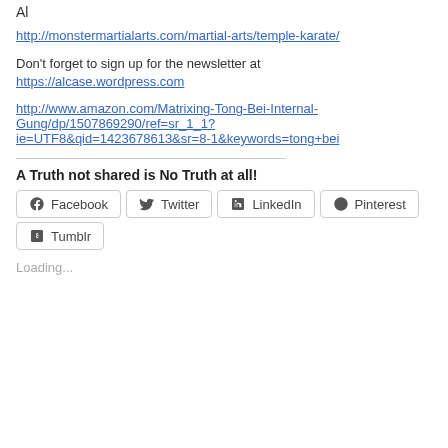Al
http://monstermartialarts.com/martial-arts/temple-karate/
Don't forget to sign up for the newsletter at https://alcase.wordpress.com
http://www.amazon.com/Matrixing-Tong-Bei-Internal-Gung/dp/1507869290/ref=sr_1_1?ie=UTF8&qid=1423678613&sr=8-1&keywords=tong+bei
A Truth not shared is No Truth at all!
Facebook  Twitter  LinkedIn  Pinterest  Tumblr
Loading...